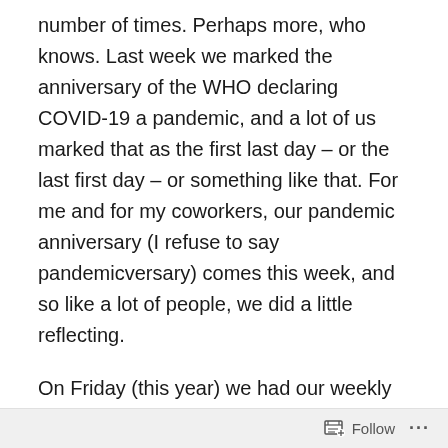number of times. Perhaps more, who knows. Last week we marked the anniversary of the WHO declaring COVID-19 a pandemic, and a lot of us marked that as the first last day – or the last first day – or something like that. For me and for my coworkers, our pandemic anniversary (I refuse to say pandemicversary) comes this week, and so like a lot of people, we did a little reflecting.
On Friday (this year) we had our weekly meeting and our director talked about how much we've done for the past nearly-a-year; how quickly we pivoted (a word we all heard a LOT) to online teaching and information desk help and everything else we do as the health sciences library in a research university. And indeed, we were able to quickly move our services online, almost seamlessly last March.
Follow ···